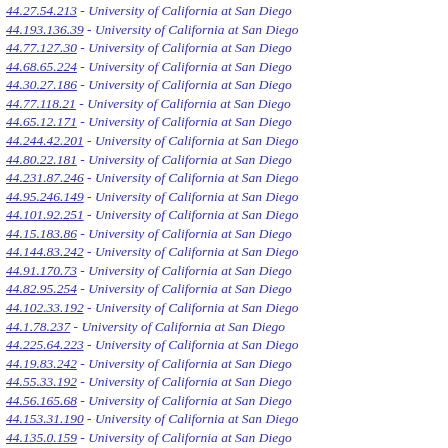44.27.54.213 - University of California at San Diego
44.193.136.39 - University of California at San Diego
44.77.127.30 - University of California at San Diego
44.68.65.224 - University of California at San Diego
44.30.27.186 - University of California at San Diego
44.77.118.21 - University of California at San Diego
44.65.12.171 - University of California at San Diego
44.244.42.201 - University of California at San Diego
44.80.22.181 - University of California at San Diego
44.231.87.246 - University of California at San Diego
44.95.246.149 - University of California at San Diego
44.101.92.251 - University of California at San Diego
44.15.183.86 - University of California at San Diego
44.144.83.242 - University of California at San Diego
44.91.170.73 - University of California at San Diego
44.82.95.254 - University of California at San Diego
44.102.33.192 - University of California at San Diego
44.1.78.237 - University of California at San Diego
44.225.64.223 - University of California at San Diego
44.19.83.242 - University of California at San Diego
44.55.33.192 - University of California at San Diego
44.56.165.68 - University of California at San Diego
44.153.31.190 - University of California at San Diego
44.135.0.159 - University of California at San Diego
44.54.251.154 - University of California at San Diego
44.250.60.219 - University of California at San Diego
44.58.32.191 - University of California at San Diego
44.77.160.63 - University of California at San Diego
44.126.0.159 - University of California at San Diego
44.13.0.159 - University of California at San Diego